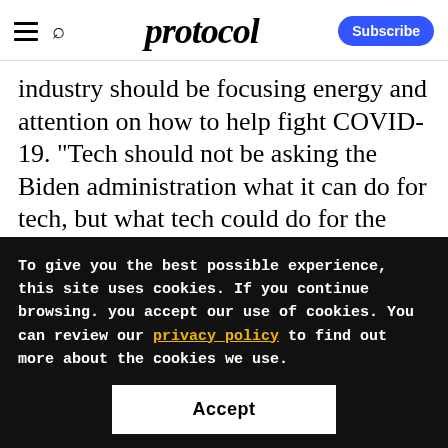protocol
industry should be focusing energy and attention on how to help fight COVID-19. "Tech should not be asking the Biden administration what it can do for tech, but what tech could do for the country," Lehane said.
Airbnb is well-positioned to work with a Biden administration, considering many senior staff
To give you the best possible experience, this site uses cookies. If you continue browsing. you accept our use of cookies. You can review our privacy policy to find out more about the cookies we use.
Accept